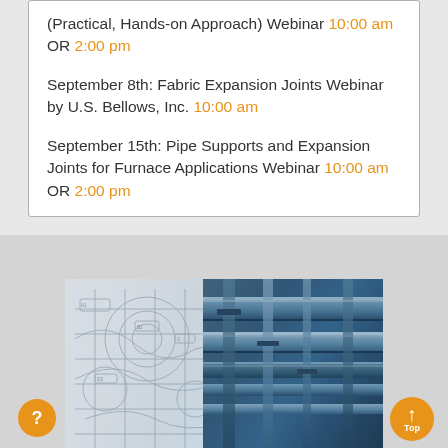(Practical, Hands-on Approach) Webinar 10:00 am OR 2:00 pm
September 8th: Fabric Expansion Joints Webinar by U.S. Bellows, Inc. 10:00 am
September 15th: Pipe Supports and Expansion Joints for Furnace Applications Webinar 10:00 am OR 2:00 pm
[Figure (photo): Industrial pipe systems photo merged with engineering blueprint/schematic drawings overlay]